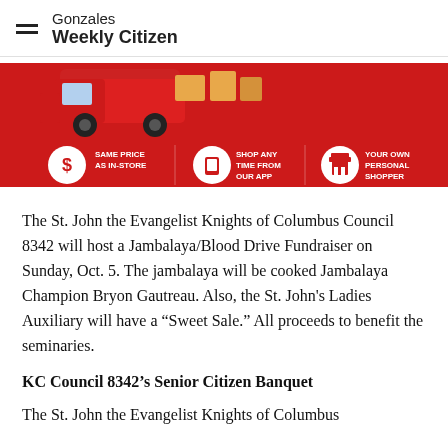Gonzales Weekly Citizen
[Figure (infographic): Red advertisement banner showing grocery delivery service with icons for: Same Price As In-Store (dollar sign), Shop Any Time From Our App (phone icon), Your Own Personal Shopper (store icon). Top portion shows a red delivery van with packages.]
The St. John the Evangelist Knights of Columbus Council 8342 will host a Jambalaya/Blood Drive Fundraiser on Sunday, Oct. 5. The jambalaya will be cooked Jambalaya Champion Bryon Gautreau. Also, the St. John's Ladies Auxiliary will have a “Sweet Sale.” All proceeds to benefit the seminaries.
KC Council 8342’s Senior Citizen Banquet
The St. John the Evangelist Knights of Columbus